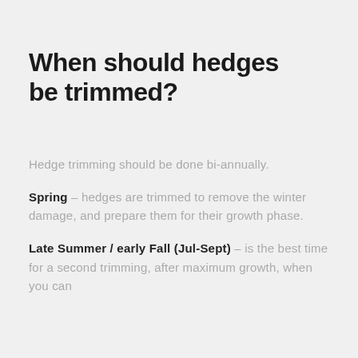When should hedges be trimmed?
Hedge trimming should be done bi-annually.
Spring – hedges are trimmed to remove the winter damage, and prepare them for their growth phase.
Late Summer / early Fall (Jul-Sept) – is the best time for a second trimming, after maximum growth, when you can